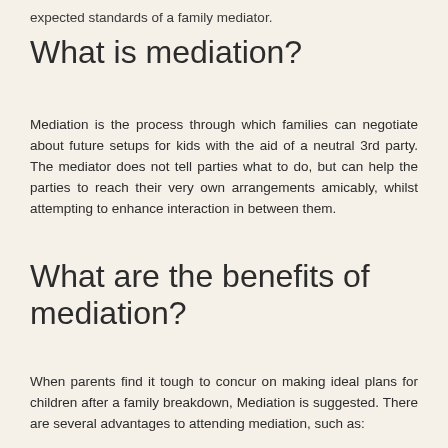expected standards of a family mediator.
What is mediation?
Mediation is the process through which families can negotiate about future setups for kids with the aid of a neutral 3rd party. The mediator does not tell parties what to do, but can help the parties to reach their very own arrangements amicably, whilst attempting to enhance interaction in between them.
What are the benefits of mediation?
When parents find it tough to concur on making ideal plans for children after a family breakdown, Mediation is suggested. There are several advantages to attending mediation, such as: